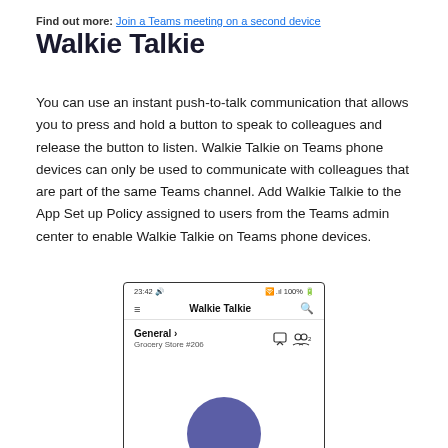Find out more: Join a Teams meeting on a second device
Walkie Talkie
You can use an instant push-to-talk communication that allows you to press and hold a button to speak to colleagues and release the button to listen. Walkie Talkie on Teams phone devices can only be used to communicate with colleagues that are part of the same Teams channel. Add Walkie Talkie to the App Set up Policy assigned to users from the Teams admin center to enable Walkie Talkie on Teams phone devices.
[Figure (screenshot): Mobile phone screenshot showing the Walkie Talkie app in Microsoft Teams. Status bar shows 23:42 and 100% battery. The app header shows 'Walkie Talkie' with a search icon. A channel row shows 'General >' with subtitle 'Grocery Store #206' and icons for chat and members (showing 2). A large purple circular push-to-talk button is partially visible at the bottom.]